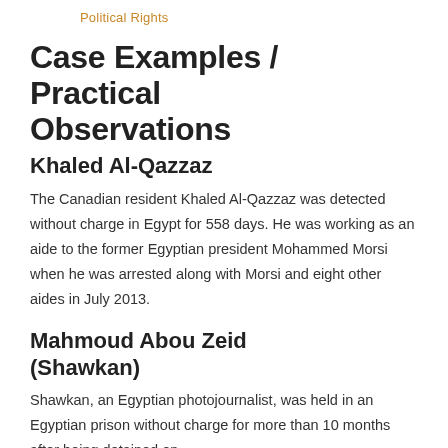Political Rights
Case Examples / Practical Observations
Khaled Al-Qazzaz
The Canadian resident Khaled Al-Qazzaz was detained without charge in Egypt for 558 days. He was working as an aide to the former Egyptian president Mohammed Morsi when he was arrested along with Morsi and eight other aides in July 2013.
Mahmoud Abou Zeid (Shawkan)
Shawkan, an Egyptian photojournalist, was held in an Egyptian prison without charge for more than 10 months after being detained on